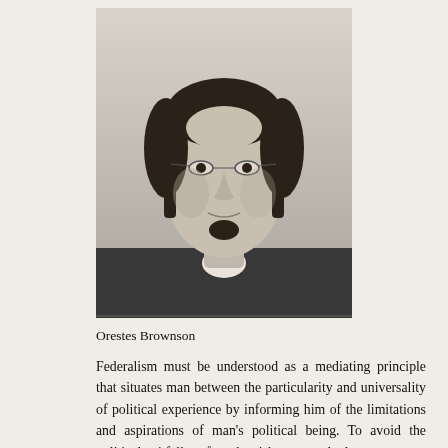[Figure (photo): Black and white portrait photograph of Orestes Brownson, a 19th century man with dark curly hair, small round glasses, a chin beard, wearing a dark coat and white cravat/bow tie.]
Orestes Brownson
Federalism must be understood as a mediating principle that situates man between the particularity and universality of political experience by informing him of the limitations and aspirations of man's political being. To avoid the political pitfalls of a brutish personal democracy or, alternatively, a rationalist universalism, the American system attaches the man to the particular estate of his guide